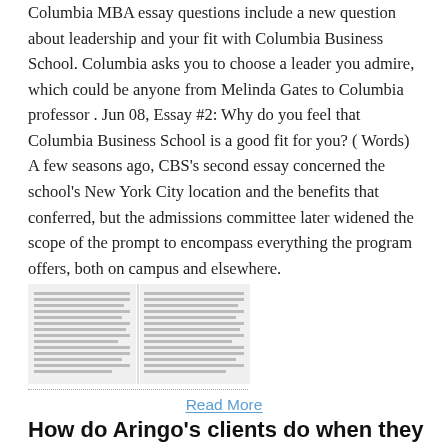Columbia MBA essay questions include a new question about leadership and your fit with Columbia Business School. Columbia asks you to choose a leader you admire, which could be anyone from Melinda Gates to Columbia professor . Jun 08, Essay #2: Why do you feel that Columbia Business School is a good fit for you? ( Words) A few seasons ago, CBS's second essay concerned the school's New York City location and the benefits that conferred, but the admissions committee later widened the scope of the prompt to encompass everything the program offers, both on campus and elsewhere.
[Figure (illustration): Thumbnail image of a two-column document page showing dense text, resembling an article or essay excerpt.]
Read More
How do Aringo's clients do when they apply to Columbia?